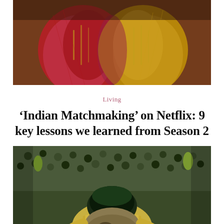[Figure (photo): Two people wearing traditional Indian clothing — one in red/pink attire and one in yellow/gold attire, photographed from the torso down showing colorful embroidered fabric]
Living
'Indian Matchmaking' on Netflix: 9 key lessons we learned from Season 2
[Figure (photo): A person with dark green-tipped hair bending forward in a crowded outdoor setting, wearing a yellow jacket, appearing to be in distress; background shows many people in a dystopian scene]